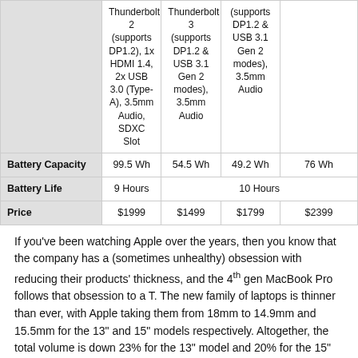|  | Col1 | Col2 | Col3 | Col4 |
| --- | --- | --- | --- | --- |
|  | Thunderbolt 2 (supports DP1.2), 1x HDMI 1.4, 2x USB 3.0 (Type-A), 3.5mm Audio, SDXC Slot | Thunderbolt 3 (supports DP1.2 & USB 3.1 Gen 2 modes), 3.5mm Audio | (supports DP1.2 & USB 3.1 Gen 2 modes), 3.5mm Audio |  |
| Battery Capacity | 99.5 Wh | 54.5 Wh | 49.2 Wh | 76 Wh |
| Battery Life | 9 Hours | 10 Hours |  |  |
| Price | $1999 | $1499 | $1799 | $2399 |
If you've been watching Apple over the years, then you know that the company has a (sometimes unhealthy) obsession with reducing their products' thickness, and the 4th gen MacBook Pro follows that obsession to a T. The new family of laptops is thinner than ever, with Apple taking them from 18mm to 14.9mm and 15.5mm for the 13" and 15" models respectively. Altogether, the total volume is down 23% for the 13" model and 20% for the 15" model.